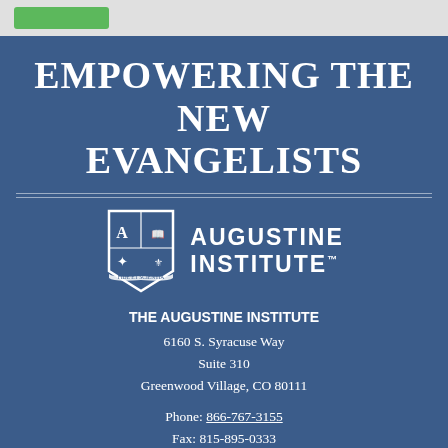EMPOWERING THE NEW EVANGELISTS
[Figure (logo): Augustine Institute shield logo with 'A' crest and text 'Augustine Institute']
THE AUGUSTINE INSTITUTE
6160 S. Syracuse Way
Suite 310
Greenwood Village, CO 80111

Phone: 866-767-3155
Fax: 815-895-0333
Email: Customer Service
FIND OUT MORE
Home
Parishes